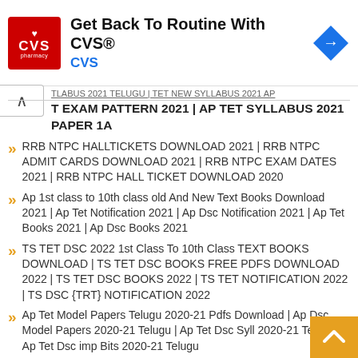[Figure (other): CVS Pharmacy advertisement banner with logo, headline 'Get Back To Routine With CVS®', subtext 'CVS', and a blue navigation arrow icon]
T EXAM PATTERN 2021 | AP TET SYLLABUS 2021 PAPER 1A
RRB NTPC HALLTICKETS DOWNLOAD 2021 | RRB NTPC ADMIT CARDS DOWNLOAD 2021 | RRB NTPC EXAM DATES 2021 | RRB NTPC HALL TICKET DOWNLOAD 2020
Ap 1st class to 10th class old And New Text Books Download 2021 | Ap Tet Notification 2021 | Ap Dsc Notification 2021 | Ap Tet Books 2021 | Ap Dsc Books 2021
TS TET DSC 2022 1st Class To 10th Class TEXT BOOKS DOWNLOAD | TS TET DSC BOOKS FREE PDFS DOWNLOAD 2022 | TS TET DSC BOOKS 2022 | TS TET NOTIFICATION 2022 | TS DSC {TRT} NOTIFICATION 2022
Ap Tet Model Papers Telugu 2020-21 Pdfs Download | Ap Dsc Model Papers 2020-21 Telugu | Ap Tet Dsc Syllabus 2020-21 Telugu | Ap Tet Dsc imp Bits 2020-21 Telugu